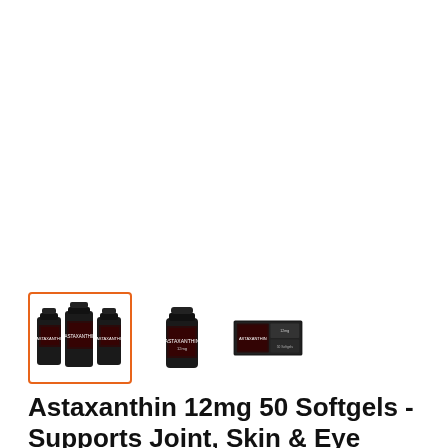[Figure (photo): Three product thumbnail images of Astaxanthin 12mg 50 Softgels supplement bottles. The first thumbnail (selected, highlighted with orange border) shows three bottles grouped together. The second shows a single bottle. The third shows a flat product display/box. All bottles have black labels with red accents.]
Astaxanthin 12mg 50 Softgels - Supports Joint, Skin & Eye Health (3-